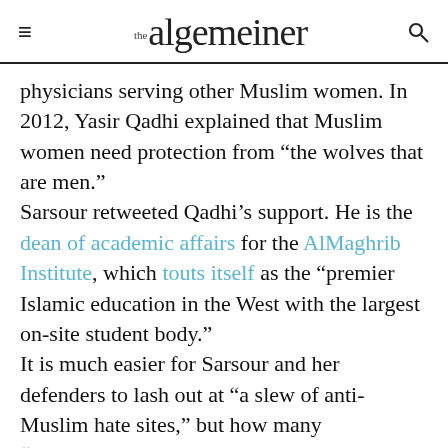the algemeiner
physicians serving other Muslim women. In 2012, Yasir Qadhi explained that Muslim women need protection from “the wolves that are men.”
Sarsour retweeted Qadhi’s support. He is the dean of academic affairs for the AlMaghrib Institute, which touts itself as the “premier Islamic education in the West with the largest on-site student body.”
It is much easier for Sarsour and her defenders to lash out at “a slew of anti-Muslim hate sites,” but how many “#IMarchWithLinda” supporters agree with Qadhi’s Saudi-like view that women should shun careers and fulfill their roles as wives and mothers?